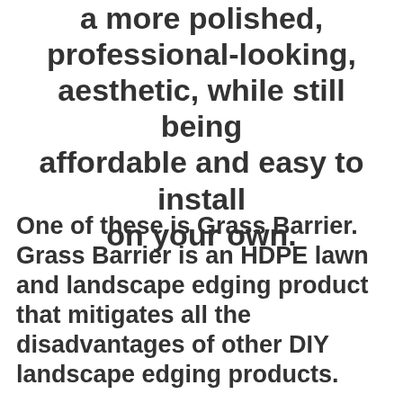a more polished, professional-looking, aesthetic, while still being affordable and easy to install on your own.
One of these is Grass Barrier. Grass Barrier is an HDPE lawn and landscape edging product that mitigates all the disadvantages of other DIY landscape edging products.